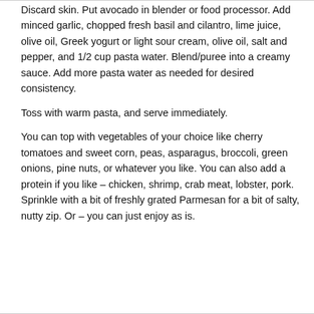Discard skin.  Put avocado in blender or food processor.  Add minced garlic, chopped fresh basil and cilantro, lime juice, olive oil, Greek yogurt or light sour cream, olive oil, salt and pepper, and 1/2 cup pasta water.  Blend/puree into a creamy sauce.  Add more pasta water as needed for desired consistency.
Toss with warm pasta, and serve immediately.
You can top with vegetables of your choice like cherry tomatoes and sweet corn, peas, asparagus, broccoli, green onions, pine nuts, or whatever you like.  You can also add a protein if you like – chicken, shrimp, crab meat, lobster, pork.  Sprinkle with a bit of freshly grated Parmesan for a bit of salty, nutty zip.  Or – you can just enjoy as is.